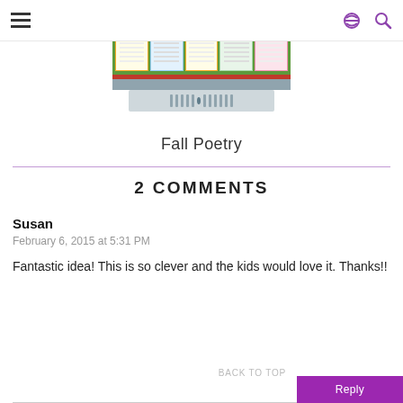Navigation header with hamburger menu and share/search icons
[Figure (photo): Classroom bulletin board with fall poetry papers displayed on green board, with a white heater unit below]
Fall Poetry
2 COMMENTS
Susan
February 6, 2015 at 5:31 PM
Fantastic idea! This is so clever and the kids would love it. Thanks!!
BACK TO TOP Reply